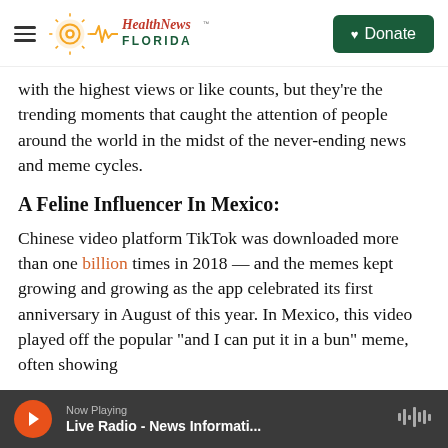Health News Florida — Donate
with the highest views or like counts, but they're the trending moments that caught the attention of people around the world in the midst of the never-ending news and meme cycles.
A Feline Influencer In Mexico:
Chinese video platform TikTok was downloaded more than one billion times in 2018 — and the memes kept growing and growing as the app celebrated its first anniversary in August of this year. In Mexico, this video played off the popular "and I can put it in a bun" meme, often showing
Now Playing — Live Radio - News Informati...